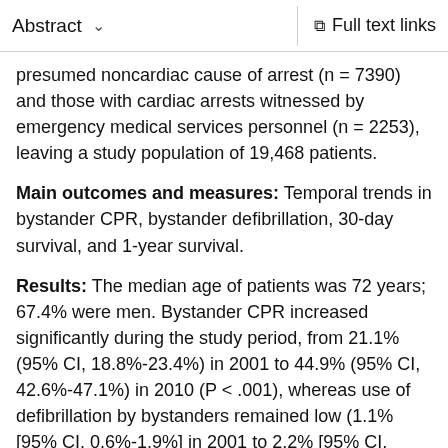Abstract   ∨   Full text links
presumed noncardiac cause of arrest (n = 7390) and those with cardiac arrests witnessed by emergency medical services personnel (n = 2253), leaving a study population of 19,468 patients.
Main outcomes and measures: Temporal trends in bystander CPR, bystander defibrillation, 30-day survival, and 1-year survival.
Results: The median age of patients was 72 years; 67.4% were men. Bystander CPR increased significantly during the study period, from 21.1% (95% CI, 18.8%-23.4%) in 2001 to 44.9% (95% CI, 42.6%-47.1%) in 2010 (P < .001), whereas use of defibrillation by bystanders remained low (1.1% [95% CI, 0.6%-1.9%] in 2001 to 2.2% [95% CI, 1.5%-2.9%] in 2010; P = .003). More patients achieved survival on hospital arrival (7.9% [95% CI, 6.4%-9.5%] in 2001 to 21.8% [95% CI,